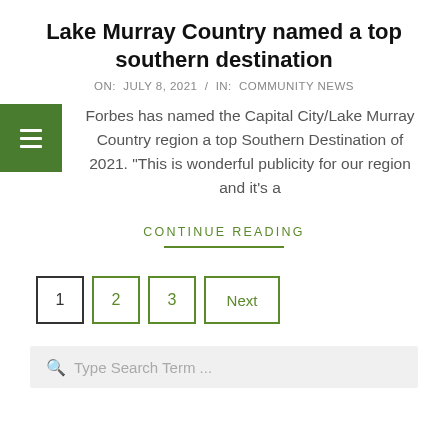Lake Murray Country named a top southern destination
ON:  JULY 8, 2021  /  IN:  COMMUNITY NEWS
Forbes has named the Capital City/Lake Murray Country region a top Southern Destination of 2021. "This is wonderful publicity for our region and it's a
CONTINUE READING
1   2   3   Next
Type Search Term ...